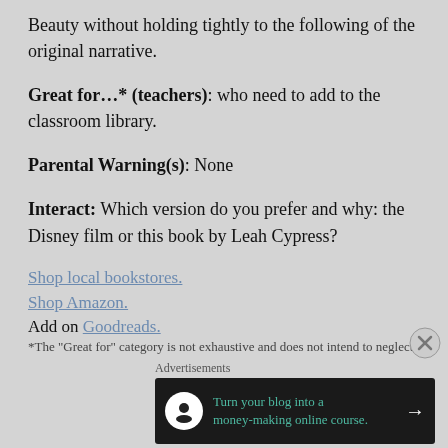Beauty without holding tightly to the following of the original narrative.
Great for...* (teachers): who need to add to the classroom library.
Parental Warning(s): None
Interact: Which version do you prefer and why: the Disney film or this book by Leah Cypress?
Shop local bookstores.
Shop Amazon.
Add on Goodreads.
*The “Great for” category is not exhaustive and does not intend to neglect
Advertisements
[Figure (infographic): Advertisement banner: dark background with teal text reading 'Turn your blog into a money-making online course.' with a white circular icon and arrow.]